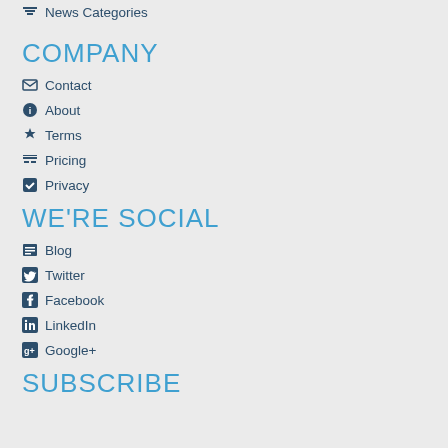News Categories
COMPANY
Contact
About
Terms
Pricing
Privacy
WE'RE SOCIAL
Blog
Twitter
Facebook
LinkedIn
Google+
SUBSCRIBE